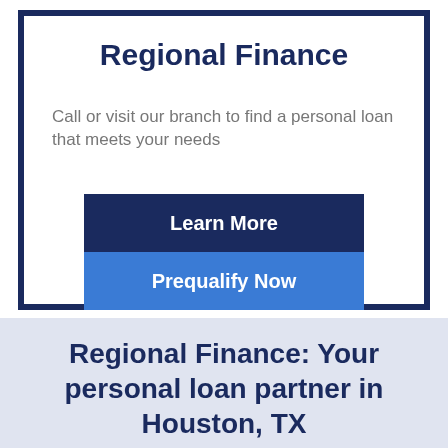Regional Finance
Call or visit our branch to find a personal loan that meets your needs
Learn More
Prequalify Now
Regional Finance: Your personal loan partner in Houston, TX